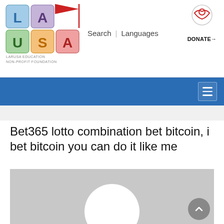[Figure (logo): LARUSA Education Non-Profit Foundation logo with colored alphabet blocks spelling LA USA]
Search | Languages
[Figure (logo): DONATE arrow logo icon for LARUSA foundation]
DONATE→
≡ (hamburger menu icon in blue navigation bar)
Bet365 lotto combination bet bitcoin, i bet bitcoin you can do it like me
[Figure (photo): Gray placeholder image with white circle silhouette, representing a default user/article image]